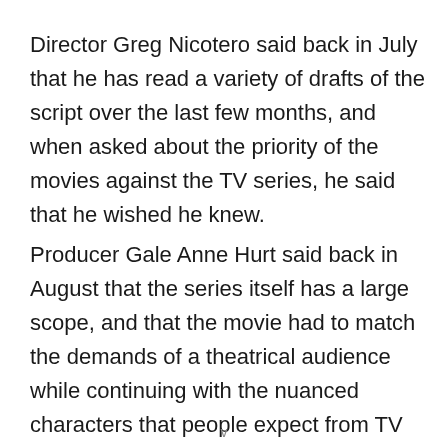Director Greg Nicotero said back in July that he has read a variety of drafts of the script over the last few months, and when asked about the priority of the movies against the TV series, he said that he wished he knew.
Producer Gale Anne Hurt said back in August that the series itself has a large scope, and that the movie had to match the demands of a theatrical audience while continuing with the nuanced characters that people expect from TV series,
v